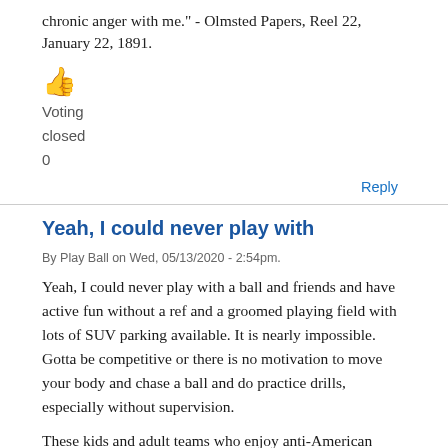chronic anger with me." - Olmsted Papers, Reel 22, January 22, 1891.
[Figure (illustration): Thumbs up emoji icon in orange/yellow color]
Voting
closed
0
Reply
Yeah, I could never play with
By Play Ball on Wed, 05/13/2020 - 2:54pm.
Yeah, I could never play with a ball and friends and have active fun without a ref and a groomed playing field with lots of SUV parking available. It is nearly impossible. Gotta be competitive or there is no motivation to move your body and chase a ball and do practice drills, especially without supervision.
These kids and adult teams who enjoy anti-American